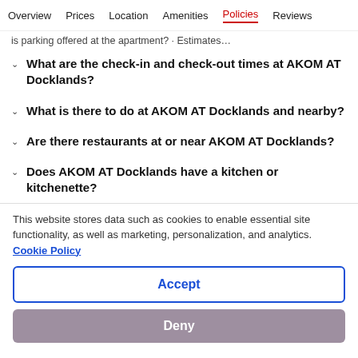Overview  Prices  Location  Amenities  Policies  Reviews
is parking offered at the apartment? · Estimates…
What are the check-in and check-out times at AKOM AT Docklands?
What is there to do at AKOM AT Docklands and nearby?
Are there restaurants at or near AKOM AT Docklands?
Does AKOM AT Docklands have a kitchen or kitchenette?
This website stores data such as cookies to enable essential site functionality, as well as marketing, personalization, and analytics. Cookie Policy
Accept
Deny